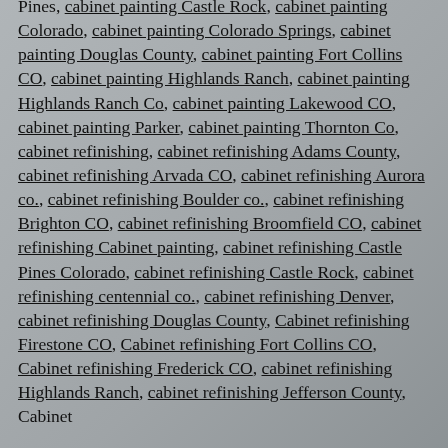Pines, cabinet painting Castle Rock, cabinet painting Colorado, cabinet painting Colorado Springs, cabinet painting Douglas County, cabinet painting Fort Collins CO, cabinet painting Highlands Ranch, cabinet painting Highlands Ranch Co, cabinet painting Lakewood CO, cabinet painting Parker, cabinet painting Thornton Co, cabinet refinishing, cabinet refinishing Adams County, cabinet refinishing Arvada CO, cabinet refinishing Aurora co., cabinet refinishing Boulder co., cabinet refinishing Brighton CO, cabinet refinishing Broomfield CO, cabinet refinishing Cabinet painting, cabinet refinishing Castle Pines Colorado, cabinet refinishing Castle Rock, cabinet refinishing centennial co., cabinet refinishing Denver, cabinet refinishing Douglas County, Cabinet refinishing Firestone CO, Cabinet refinishing Fort Collins CO, Cabinet refinishing Frederick CO, cabinet refinishing Highlands Ranch, cabinet refinishing Jefferson County, Cabinet